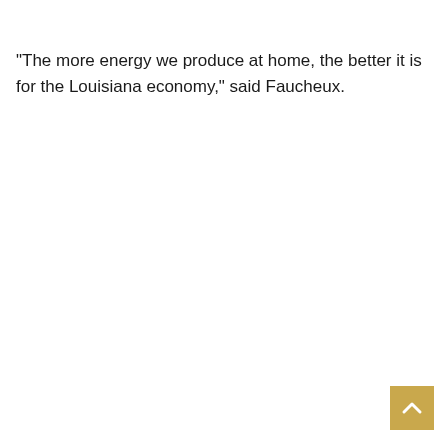“The more energy we produce at home, the better it is for the Louisiana economy,” said Faucheux.